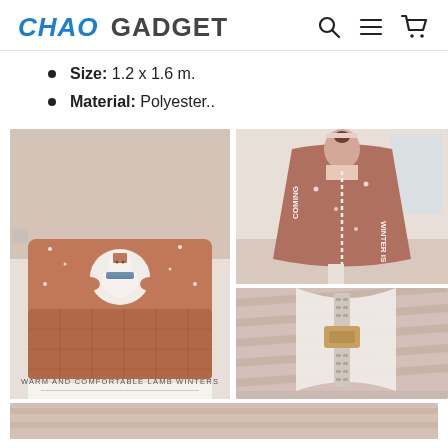CHAO GADGET
Size: 1.2 x 1.6 m.
Material: Polyester..
[Figure (photo): Product photo collage showing a wearable blanket/quilt laid flat on a bed with a snowman design, a person wearing it as a hooded wrap with 'WINTER IS COMING' text on back, and a close-up of a zipper detail. Caption reads: WARM AND COMFORTABLE LAMB WINTERS]
[Figure (photo): Bottom partial strip showing additional product photo]